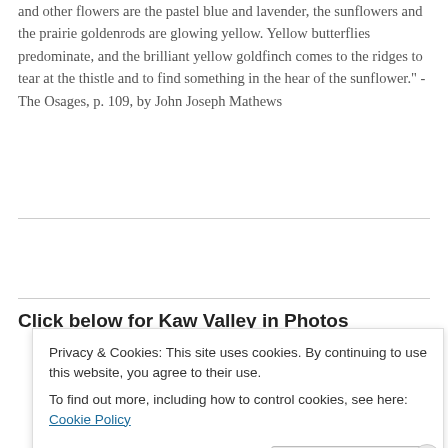and other flowers are the pastel blue and lavender, the sunflowers and the prairie goldenrods are glowing yellow. Yellow butterflies predominate, and the brilliant yellow goldfinch comes to the ridges to tear at the thistle and to find something in the hear of the sunflower." - The Osages, p. 109, by John Joseph Mathews
Click below for Kaw Valley in Photos
Privacy & Cookies: This site uses cookies. By continuing to use this website, you agree to their use.
To find out more, including how to control cookies, see here: Cookie Policy